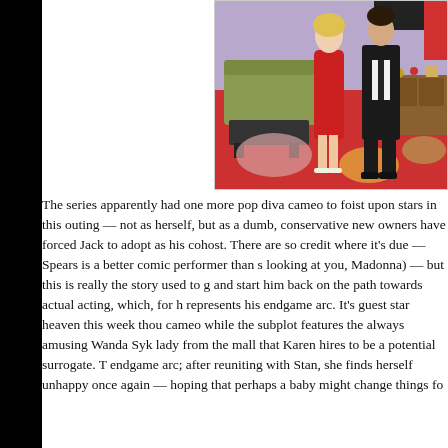[Figure (photo): A TV show set scene showing a woman in a red dress and high heels standing near a man in a black suit, with a retro-style set featuring a green couch, colorful circular carpet, and brown furniture in the background.]
The series apparently had one more pop diva cameo to foist upon stars in this outing — not as herself, but as a dumb, conservative new owners have forced Jack to adopt as his cohost. There are some credit where it's due — Spears is a better comic performer than s looking at you, Madonna) — but this is really the story used to g and start him back on the path towards actual acting, which, for h represents his endgame arc. It's guest star heaven this week thou cameo while the subplot features the always amusing Wanda Syk lady from the mall that Karen hires to be a potential surrogate. T endgame arc; after reuniting with Stan, she finds herself unhappy once again — hoping that perhaps a baby might change things fo